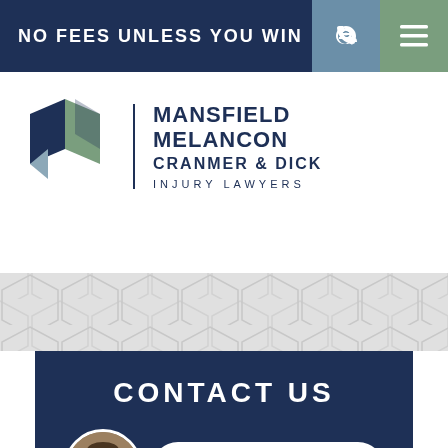NO FEES UNLESS YOU WIN
[Figure (logo): Mansfield Melancon Cranmer & Dick Injury Lawyers logo with geometric M mark in navy and sage green]
MANSFIELD MELANCON
CRANMER & DICK
INJURY LAWYERS
CONTACT US
[Figure (photo): Circular headshot photo of a male attorney in a suit]
LIVE CHAT  ›  START NOW